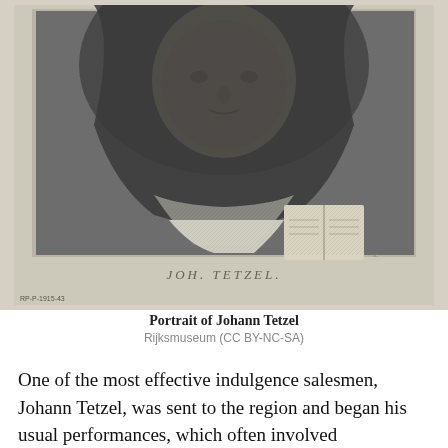[Figure (illustration): Black and white engraved portrait of Johann Tetzel, a Dominican friar, wearing a dark hooded robe. He is shown from the torso up, with an open book visible in the lower right. The text 'JOH. TETZEL.' appears below the portrait within the engraving plate. A catalog number 'RP-P-1915-43' is visible in the lower left corner.]
Portrait of Johann Tetzel
Rijksmuseum (CC BY-NC-SA)
One of the most effective indulgence salesmen, Johann Tetzel, was sent to the region and began his usual performances, which often involved